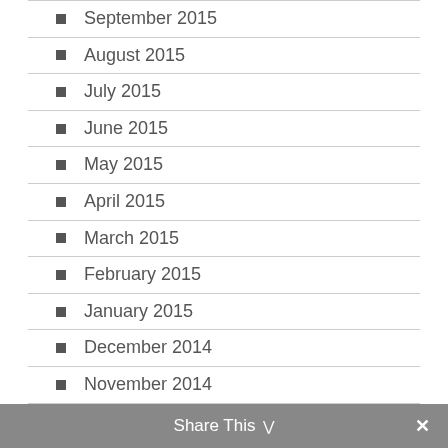September 2015
August 2015
July 2015
June 2015
May 2015
April 2015
March 2015
February 2015
January 2015
December 2014
November 2014
October 2014
September 2014
Share This ∨  ×